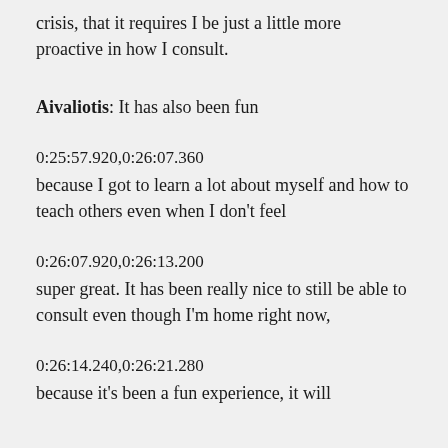crisis, that it requires I be just a little more proactive in how I consult.
Aivaliotis: It has also been fun
0:25:57.920,0:26:07.360
because I got to learn a lot about myself and how to teach others even when I don't feel
0:26:07.920,0:26:13.200
super great. It has been really nice to still be able to consult even though I'm home right now,
0:26:14.240,0:26:21.280
because it's been a fun experience, it will